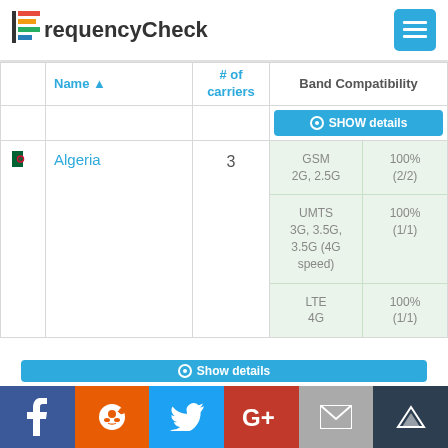FrequencyCheck
|  | Name ▲ | # of carriers | Band Compatibility |
| --- | --- | --- | --- |
|  |  |  | SHOW details |
| [flag] | Algeria | 3 | GSM 2G, 2.5G | 100% (2/2) | UMTS 3G, 3.5G, 3.5G (4G speed) | 100% (1/1) | LTE 4G | 100% (1/1) |
|  |  |  | SHOW details |
f | reddit | Twitter | G+ | email | crown